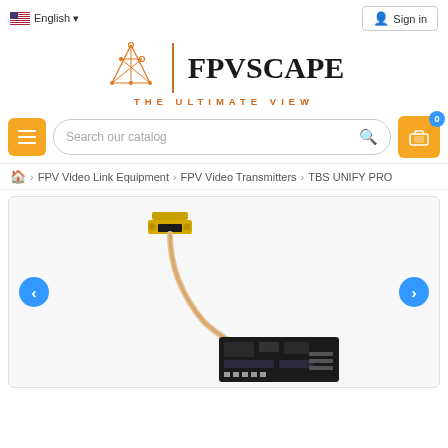English | Sign in
[Figure (logo): FPVscape logo: geometric diamond/polygon graphic with orange lines and nodes, vertical orange divider, bold black FPVSCAPE text, orange 'THE ULTIMATE VIEW' tagline below]
[Figure (screenshot): Navigation bar with orange hamburger menu button, search box 'Search our catalog', and orange cart button with blue badge showing 0]
Home > FPV Video Link Equipment > FPV Video Transmitters > TBS UNIFY PRO
[Figure (photo): Product photo of TBS UNIFY PRO FPV video transmitter with SMA connector, coaxial cable, and circuit board on white/light grey background. Left and right navigation arrows in blue circles.]